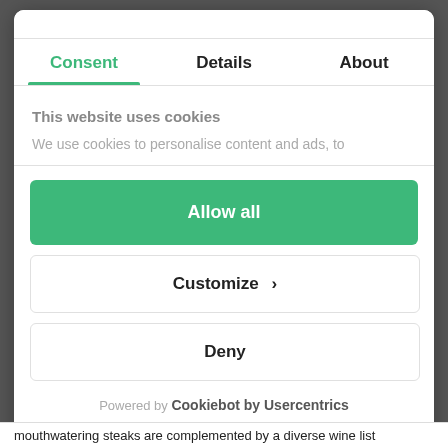Consent | Details | About
This website uses cookies
We use cookies to personalise content and ads, to
Allow all
Customize ›
Deny
Powered by Cookiebot by Usercentrics
mouthwatering steaks are complemented by a diverse wine list